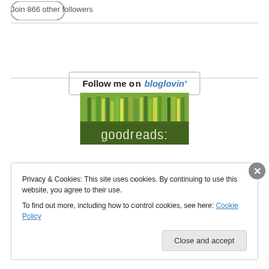Join 866 other followers
[Figure (logo): Bloglovin follow button with text 'Follow me on bloglovin']
[Figure (logo): Goodreads banner image showing books on a green background with 'goodreads' text]
Privacy & Cookies: This site uses cookies. By continuing to use this website, you agree to their use.
To find out more, including how to control cookies, see here: Cookie Policy
Close and accept